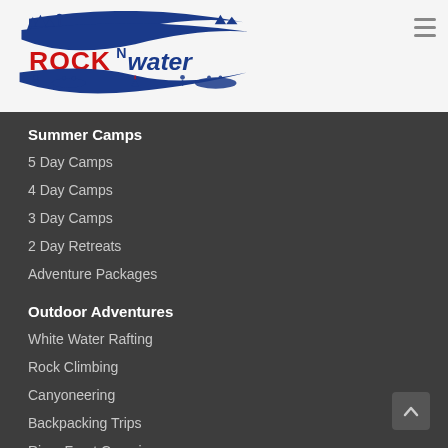[Figure (logo): Rock N Water logo with blue swoosh banner and red text, showing outdoor activity silhouettes]
Summer Camps
5 Day Camps
4 Day Camps
3 Day Camps
2 Day Retreats
Adventure Packages
Outdoor Adventures
White Water Rafting
Rock Climbing
Canyoneering
Backpacking Trips
River Front Camping